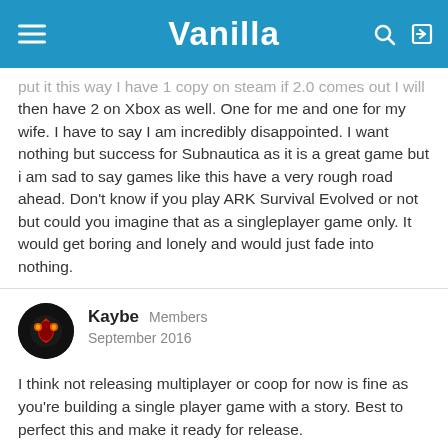Vanilla
put it this way I have 1 copy on steam if 2.0 comes out I will then have 2 on Xbox as well. One for me and one for my wife. I have to say I am incredibly disappointed. I want nothing but success for Subnautica as it is a great game but i am sad to say games like this have a very rough road ahead. Don't know if you play ARK Survival Evolved or not but could you imagine that as a singleplayer game only. It would get boring and lonely and would just fade into nothing.
Kaybe  Members
September 2016
I think not releasing multiplayer or coop for now is fine as you're building a single player game with a story. Best to perfect this and make it ready for release.
But not releasing multiplayer *ever* is a really really bad idea. To make the very obvious comparison, Minecraft is a great